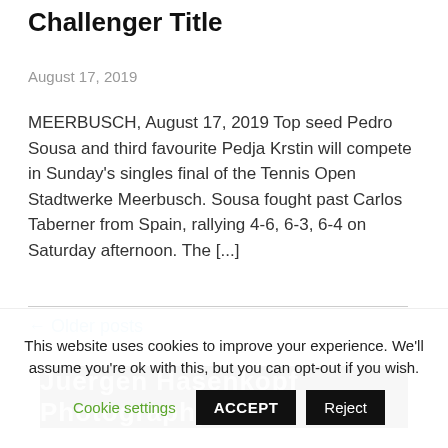Challenger Title
August 17, 2019
MEERBUSCH, August 17, 2019 Top seed Pedro Sousa and third favourite Pedja Krstin will compete in Sunday's singles final of the Tennis Open Stadtwerke Meerbusch. Sousa fought past Carlos Taberner from Spain, rallying 4-6, 6-3, 6-4 on Saturday afternoon. The [...]
← Older posts
[Figure (photo): Juergen Hasenkopf Photography banner with white text on black background]
This website uses cookies to improve your experience. We'll assume you're ok with this, but you can opt-out if you wish.
Cookie settings  ACCEPT  Reject